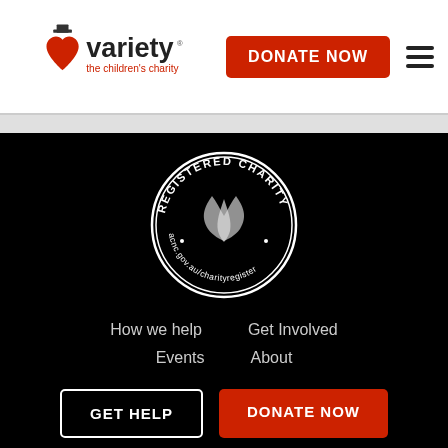[Figure (logo): Variety - the children's charity logo with heart and top hat icon]
DONATE NOW
[Figure (illustration): Hamburger/menu icon with three horizontal lines]
[Figure (logo): Registered Charity badge - circular seal with ACNC acnc.gov.au/charityregister text]
How we help   Get Involved
Events   About
GET HELP
DONATE NOW
VIC